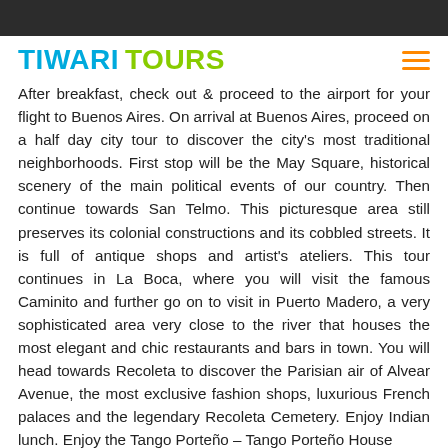TIWARI TOURS
After breakfast, check out & proceed to the airport for your flight to Buenos Aires. On arrival at Buenos Aires, proceed on a half day city tour to discover the city's most traditional neighborhoods. First stop will be the May Square, historical scenery of the main political events of our country. Then continue towards San Telmo. This picturesque area still preserves its colonial constructions and its cobbled streets. It is full of antique shops and artist's ateliers. This tour continues in La Boca, where you will visit the famous Caminito and further go on to visit in Puerto Madero, a very sophisticated area very close to the river that houses the most elegant and chic restaurants and bars in town. You will head towards Recoleta to discover the Parisian air of Alvear Avenue, the most exclusive fashion shops, luxurious French palaces and the legendary Recoleta Cemetery. Enjoy Indian lunch. Enjoy the Tango Porteño – Tango Porteño House